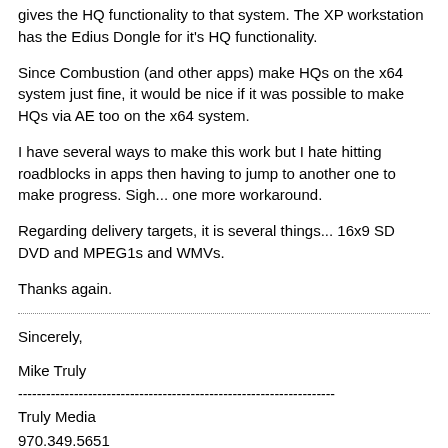gives the HQ functionality to that system. The XP workstation has the Edius Dongle for it's HQ functionality.
Since Combustion (and other apps) make HQs on the x64 system just fine, it would be nice if it was possible to make HQs via AE too on the x64 system.
I have several ways to make this work but I hate hitting roadblocks in apps then having to jump to another one to make progress. Sigh... one more workaround.
Regarding delivery targets, it is several things... 16x9 SD DVD and MPEG1s and WMVs.
Thanks again.
Sincerely,
Mike Truly
--------------------------------------------------------------------
Truly Media
970.349.5651
www.trulymedia.com
System1: Edius 7.41|Storm Mobile|Dual Xeon 3.1 (20 cores w HT OFF)|128GB RAM|Dual 512 SSDs|7TB RAID5|Dual Quadro5000s|Win7_64